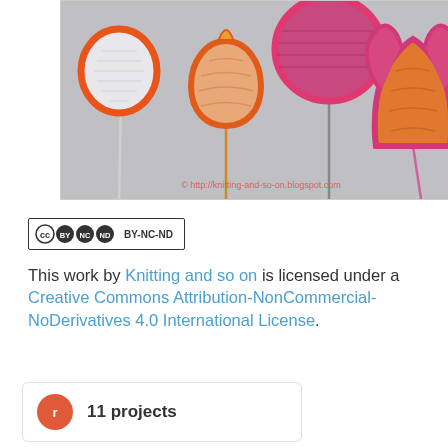[Figure (photo): Photo of several crocheted/knitted flower and tulip shapes on sticks, in orange, pink, and white colors, against a gray background. Watermark text reads: © http://knitting-and-so-on.blogspot.com]
[Figure (logo): Creative Commons CC BY-NC-ND license badge]
This work by Knitting and so on is licensed under a Creative Commons Attribution-NonCommercial-NoDerivatives 4.0 International License.
11 projects